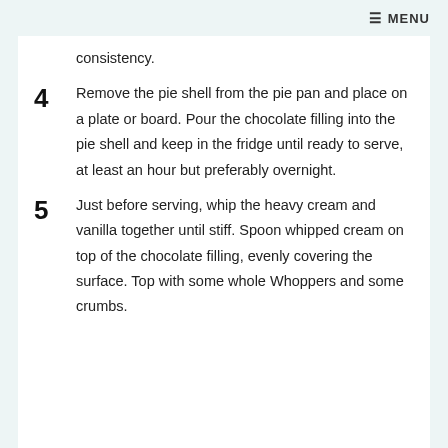≡ MENU
consistency.
4   Remove the pie shell from the pie pan and place on a plate or board. Pour the chocolate filling into the pie shell and keep in the fridge until ready to serve, at least an hour but preferably overnight.
5   Just before serving, whip the heavy cream and vanilla together until stiff. Spoon whipped cream on top of the chocolate filling, evenly covering the surface. Top with some whole Whoppers and some crumbs.